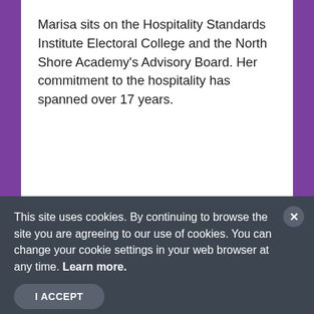Marisa sits on the Hospitality Standards Institute Electoral College and the North Shore Academy's Advisory Board. Her commitment to the hospitality has spanned over 17 years.
This site uses cookies. By continuing to browse the site you are agreeing to our use of cookies. You can change your cookie settings in your web browser at any time. Learn more.
I ACCEPT